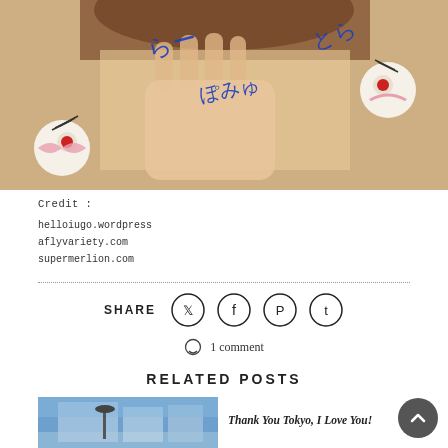[Figure (photo): A woman holding her hand toward the camera with Japanese text written in blue marker on her palm, surrounded by decorative elements including creepy eye-ball toys with pink ribbons and textured fabric]
Credit:
helloiugo.wordpress
aflyvariety.com
supermerlion.com
SHARE  [Twitter] [Facebook] [Pinterest] [Tumblr]
1 comment
RELATED POSTS
[Figure (photo): A building exterior photo with blue sky]
Thank You Tokyo, I Love You!